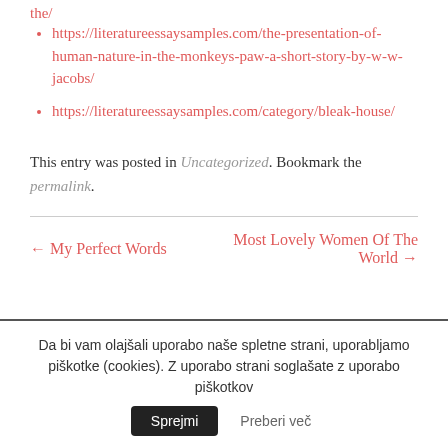https://literatureessaysamples.com/the-presentation-of-human-nature-in-the-monkeys-paw-a-short-story-by-w-w-jacobs/
https://literatureessaysamples.com/category/bleak-house/
This entry was posted in Uncategorized. Bookmark the permalink.
← My Perfect Words
Most Lovely Women Of The World →
Da bi vam olajšali uporabo naše spletne strani, uporabljamo piškotke (cookies). Z uporabo strani soglašate z uporabo piškotkov  Sprejmi  Preberi več